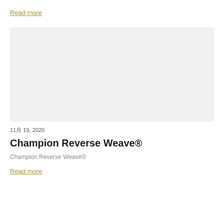Read more
[Figure (photo): Large light gray placeholder image rectangle]
11月 19, 2020
Champion Reverse Weave®
Champion Reverse Weave®
Read more